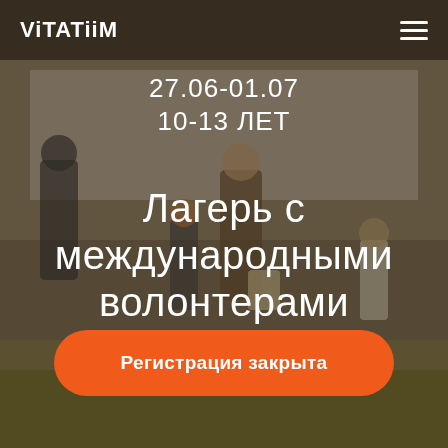ViTATiiM
27.06-01.07
10-13 ЛЕТ
[Figure (photo): Group of adults and children outdoors near a white tent on grass, in a summer camp setting]
Лагерь с международными волонтерами
Регистрация закрыта